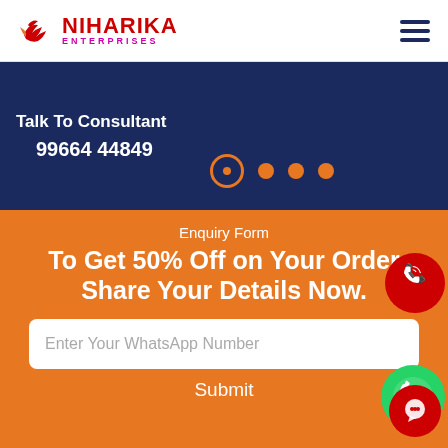[Figure (logo): Niharika Enterprises logo with bird icon, red NIHARIKA text and magenta ENTERPRISES text]
[Figure (infographic): Hamburger menu icon with three dark blue horizontal lines]
Talk To Consultant
99664 44849
[Figure (infographic): Four orange dots in a row, first one is a ring/circle outline with inner filled dot, remaining three are solid filled circles]
Enquiry Form
To Get 50% Off on Your Order Share Your Details Now.
[Figure (infographic): Red circular phone call button with white phone icon and signal waves]
[Figure (infographic): Green circular WhatsApp button with white phone icon]
Enter Your WhatsApp Number
Submit
[Figure (infographic): Red circular chat/message button at bottom right]